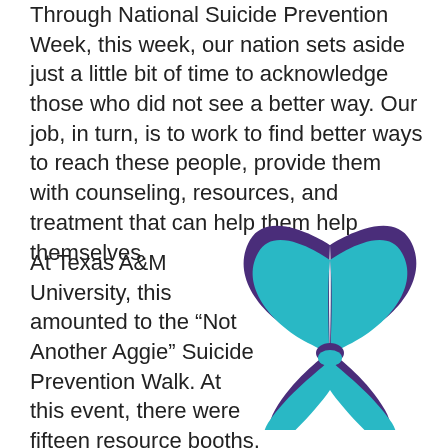Through National Suicide Prevention Week, this week, our nation sets aside just a little bit of time to acknowledge those who did not see a better way. Our job, in turn, is to work to find better ways to reach these people, provide them with counseling, resources, and treatment that can help them help themselves.
At Texas A&M University, this amounted to the “Not Another Aggie” Suicide Prevention Walk. At this event, there were fifteen resource booths, a candle light vigil was
[Figure (illustration): Teal and purple suicide prevention awareness ribbon]